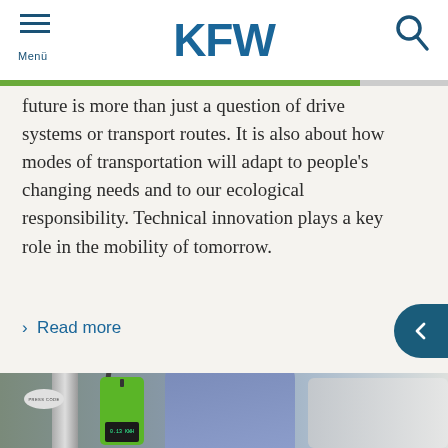KFW — Menü / Search
future is more than just a question of drive systems or transport routes. It is also about how modes of transportation will adapt to people's changing needs and to our ecological responsibility. Technical innovation plays a key role in the mobility of tomorrow.
› Read more
[Figure (photo): Electric vehicle charging station with a green device/card reader attached to a metal pole, a person in a blue shirt in the background, and a white car partially visible on the right.]